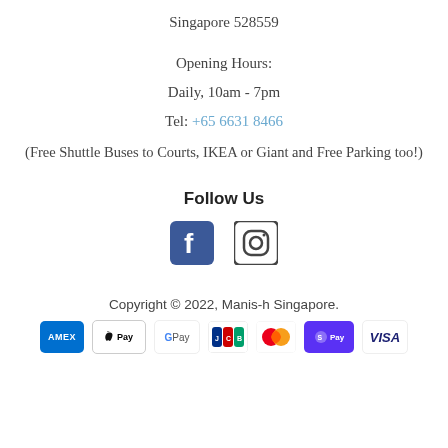Singapore 528559
Opening Hours:
Daily, 10am - 7pm
Tel: +65 6631 8466
(Free Shuttle Buses to Courts, IKEA or Giant and Free Parking too!)
Follow Us
[Figure (illustration): Facebook and Instagram social media icons]
Copyright © 2022, Manis-h Singapore.
[Figure (illustration): Payment method icons: American Express, Apple Pay, Google Pay, JCB, Mastercard, ShopifyPay, Visa]